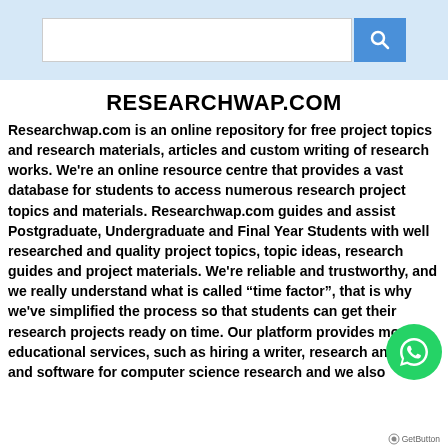[Figure (screenshot): Search bar UI with a white input field and a blue search button with a magnifying glass icon, on a light blue background]
RESEARCHWAP.COM
Researchwap.com is an online repository for free project topics and research materials, articles and custom writing of research works. We're an online resource centre that provides a vast database for students to access numerous research project topics and materials. Researchwap.com guides and assist Postgraduate, Undergraduate and Final Year Students with well researched and quality project topics, topic ideas, research guides and project materials. We're reliable and trustworthy, and we really understand what is called “time factor”, that is why we've simplified the process so that students can get their research projects ready on time. Our platform provides more educational services, such as hiring a writer, research analysis, and software for computer science research and we also